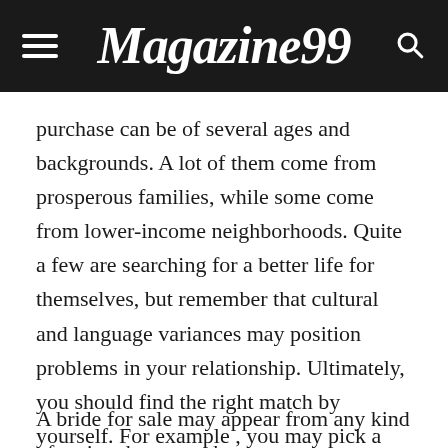Magazine99
purchase can be of several ages and backgrounds. A lot of them come from prosperous families, while some come from lower-income neighborhoods. Quite a few are searching for a better life for themselves, but remember that cultural and language variances may position problems in your relationship. Ultimately, you should find the right match by yourself. For example , you may pick a bride right from Asia if you are looking for someone young and healthy for the duty market.
A bride for sale may appear from any kind of nation, however the more common kinds